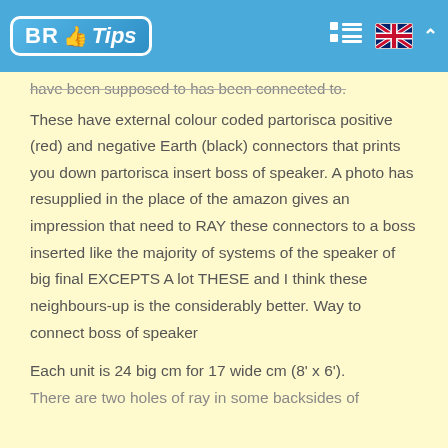BR Tips
have been supposed to has been connected to. These have external colour coded partorisca positive (red) and negative Earth (black) connectors that prints you down partorisca insert boss of speaker. A photo has resupplied in the place of the amazon gives an impression that need to RAY these connectors to a boss inserted like the majority of systems of the speaker of big final EXCEPTS A lot THESE and I think these neighbours-up is the considerably better. Way to connect boss of speaker
Each unit is 24 big cm for 17 wide cm (8' x 6'). There are two holes of ray in some backsides of